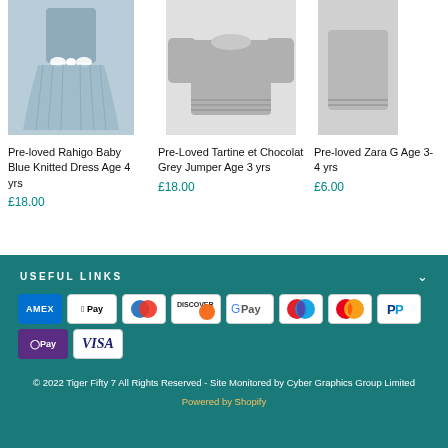[Figure (photo): Pre-loved Rahigo Baby Blue Knitted Dress product photo]
Pre-loved Rahigo Baby Blue Knitted Dress Age 4 yrs
£18.00
[Figure (photo): Pre-Loved Tartine et Chocolat Grey Jumper product photo]
Pre-Loved Tartine et Chocolat Grey Jumper Age 3 yrs
£18.00
[Figure (photo): Pre-loved Zara G Age 3-4 yrs product photo]
Pre-loved Zara G Age 3-4 yrs
£6.00
USEFUL LINKS
[Figure (other): Payment method icons: Amex, Apple Pay, Diners, Discover, Google Pay, Maestro, Mastercard, PayPal, Samsung Pay, Visa]
© 2022 Tiger Fifty 7 All Rights Reserved - Site Monitored by Cyber Graphics Group Limited
Powered by Shopify